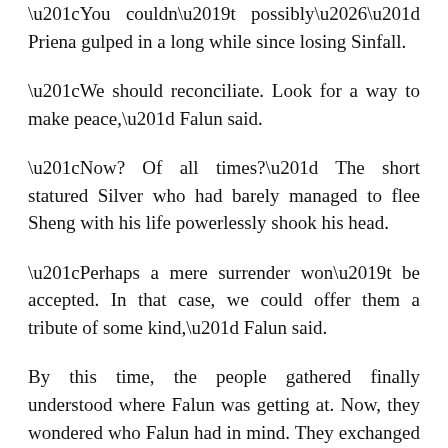“You couldn’t possibly…” Priena gulped in a long while since losing Sinfall.
“We should reconciliate. Look for a way to make peace,” Falun said.
“Now? Of all times?” The short statured Silver who had barely managed to flee Sheng with his life powerlessly shook his head.
“Perhaps a mere surrender won’t be accepted. In that case, we could offer them a tribute of some kind,” Falun said.
By this time, the people gathered finally understood where Falun was getting at. Now, they wondered who Falun had in mind. They exchanged glances amonge themselves, wondering wretchedly who should be